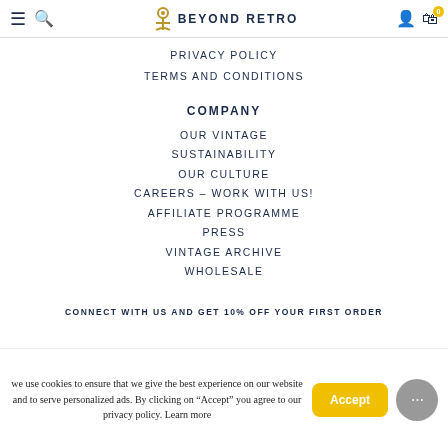Beyond Retro — navigation header with hamburger, search, logo, user, bag icons
PRIVACY POLICY
TERMS AND CONDITIONS
COMPANY
OUR VINTAGE
SUSTAINABILITY
OUR CULTURE
CAREERS – WORK WITH US!
AFFILIATE PROGRAMME
PRESS
VINTAGE ARCHIVE
WHOLESALE
CONNECT WITH US AND GET 10% OFF YOUR FIRST ORDER
we use cookies to ensure that we give the best experience on our website and to serve personalized ads. By clicking on "Accept" you agree to our privacy policy. Learn more